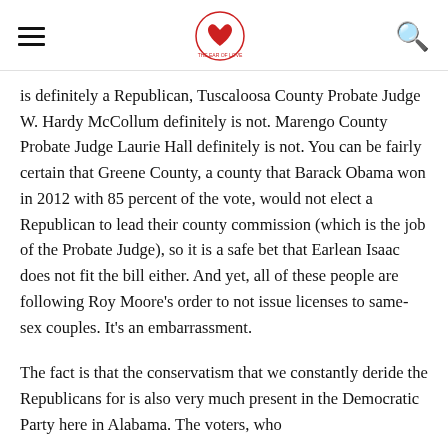[hamburger menu] [logo] [search icon]
is definitely a Republican, Tuscaloosa County Probate Judge W. Hardy McCollum definitely is not. Marengo County Probate Judge Laurie Hall definitely is not. You can be fairly certain that Greene County, a county that Barack Obama won in 2012 with 85 percent of the vote, would not elect a Republican to lead their county commission (which is the job of the Probate Judge), so it is a safe bet that Earlean Isaac does not fit the bill either. And yet, all of these people are following Roy Moore's order to not issue licenses to same-sex couples. It's an embarrassment.
The fact is that the conservatism that we constantly deride the Republicans for is also very much present in the Democratic Party here in Alabama. The voters, who